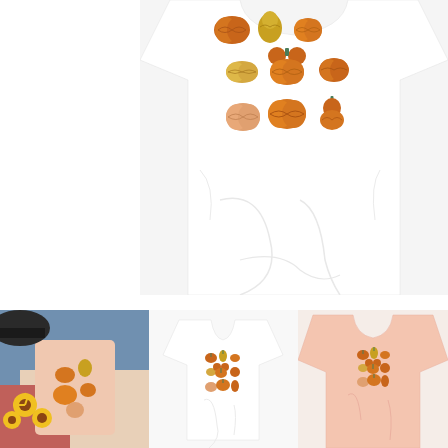[Figure (photo): White t-shirt laid flat showing a print of 9 decorative pumpkins and gourds arranged in a 3x3 grid on the chest area]
[Figure (photo): Lifestyle flat lay photo showing a pink tote bag with pumpkin print design alongside sunflowers, denim, and autumn accessories]
[Figure (photo): White t-shirt on a hanger showing small pumpkin print design on the chest]
[Figure (photo): Pale pink t-shirt showing small pumpkin and gourd print design on the chest, laid flat]